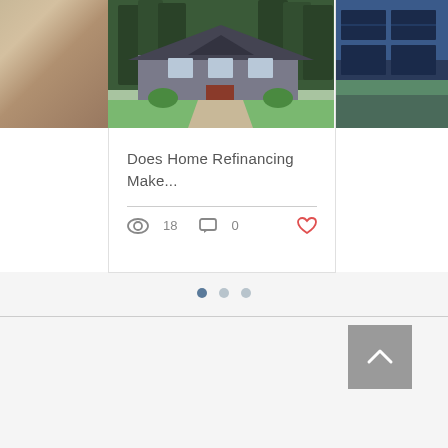[Figure (photo): Left partial view of a card with an arm/person photo, partially cropped]
[Figure (photo): Center card showing a house with a craftsman-style exterior, green lawn, driveway, surrounded by tall evergreen trees]
Does Home Refinancing Make...
18 views · 0 comments · 0 likes
[Figure (photo): Right partial view of a card with solar panels or similar, partially cropped]
Pagination dots: 3 dots, first active
[Figure (other): Back to top button with upward arrow chevron on grey background]